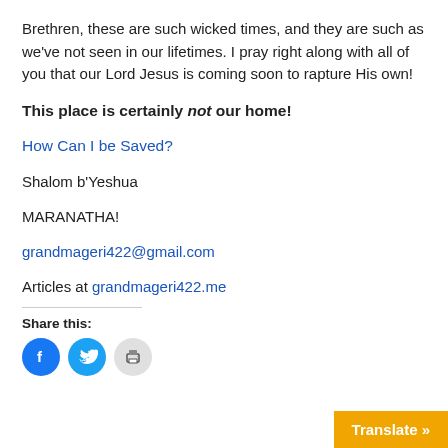Brethren, these are such wicked times, and they are such as we've not seen in our lifetimes. I pray right along with all of you that our Lord Jesus is coming soon to rapture His own!
This place is certainly not our home!
How Can I be Saved?
Shalom b'Yeshua
MARANATHA!
grandmageri422@gmail.com
Articles at grandmageri422.me
Share this:
[Figure (infographic): Three social share buttons: Facebook (blue circle with f icon), Twitter (cyan circle with bird icon), Print (light grey circle with printer icon)]
Translate »